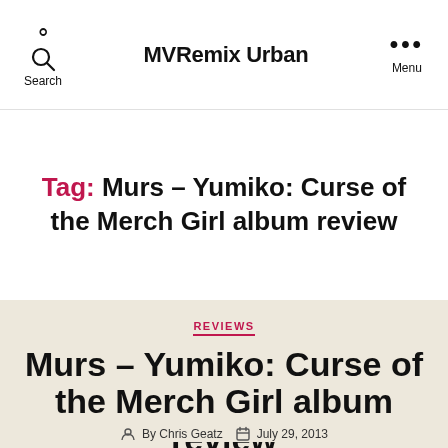Search  MVRemix Urban  Menu
Tag: Murs – Yumiko: Curse of the Merch Girl album review
REVIEWS
Murs – Yumiko: Curse of the Merch Girl album review
By Chris Geatz  July 29, 2013